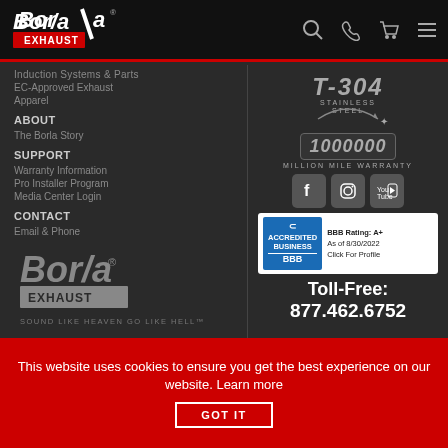[Figure (logo): Borla Exhaust logo in top navigation bar]
Induction Systems & Parts
EC-Approved Exhaust
Apparel
ABOUT
The Borla Story
SUPPORT
Warranty Information
Pro Installer Program
Media Center Login
CONTACT
Email & Phone
[Figure (logo): Borla Exhaust logo with tagline SOUND LIKE HEAVEN GO LIKE HELL]
[Figure (logo): T-304 Stainless Steel badge]
[Figure (logo): 1000000 Million Mile Warranty badge]
[Figure (logo): Facebook, Instagram, YouTube social media icons]
[Figure (logo): BBB Accredited Business badge - BBB Rating: A+ As of 8/30/2022 Click For Profile]
Toll-Free: 877.462.6752
This website uses cookies to ensure you get the best experience on our website. Learn more
GOT IT